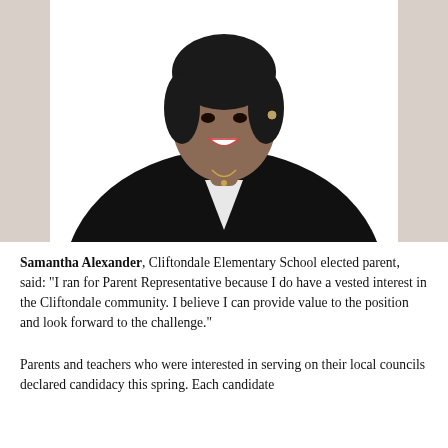[Figure (photo): Professional headshot of Samantha Alexander, a woman wearing a black blazer over a white top, with a gold necklace, smiling, against a white background.]
Samantha Alexander, Cliftondale Elementary School elected parent, said: "I ran for Parent Representative because I do have a vested interest in the Cliftondale community. I believe I can provide value to the position and look forward to the challenge."
Parents and teachers who were interested in serving on their local councils declared candidacy this spring. Each candidate